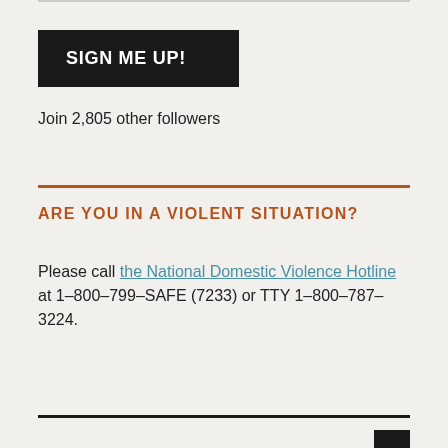[Figure (other): Black button with white bold text reading SIGN ME UP!]
Join 2,805 other followers
ARE YOU IN A VIOLENT SITUATION?
Please call the National Domestic Violence Hotline at 1–800–799–SAFE (7233) or TTY 1–800–787–3224.